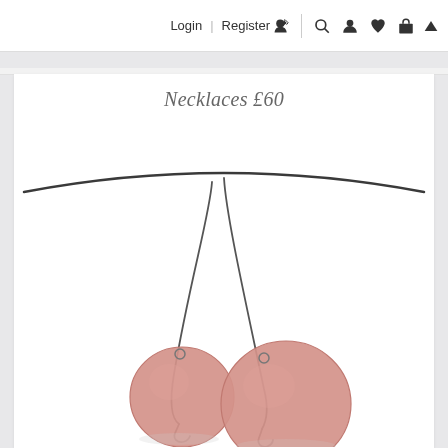Login | Register 🖉  🔍  👤  ♥  🛍  ▲
Necklaces £60
[Figure (photo): A necklace with a thin dark wire cord. Two pink/salmon colored circular disc pendants hang from thin wire stems off the necklace cord, against a white background.]